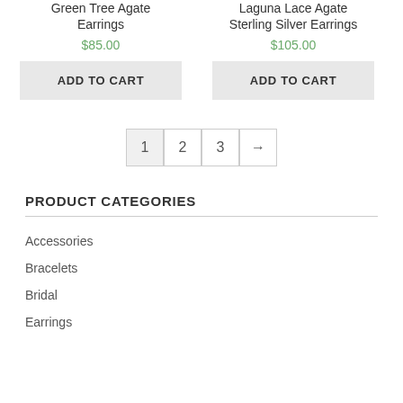Green Tree Agate Earrings
$85.00
ADD TO CART
Laguna Lace Agate Sterling Silver Earrings
$105.00
ADD TO CART
1  2  3  →
PRODUCT CATEGORIES
Accessories
Bracelets
Bridal
Earrings